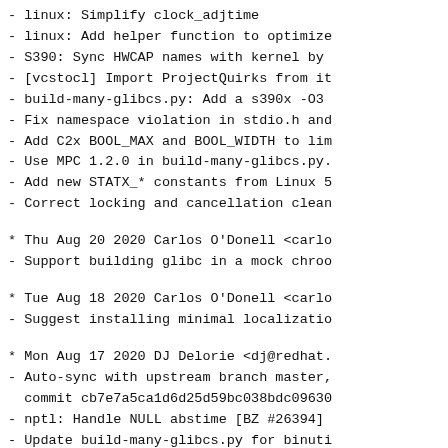- linux: Simplify clock_adjtime
- linux: Add helper function to optimize
- S390: Sync HWCAP names with kernel by
- [vcstocl] Import ProjectQuirks from it
- build-many-glibcs.py: Add a s390x -O3
- Fix namespace violation in stdio.h and
- Add C2x BOOL_MAX and BOOL_WIDTH to lim
- Use MPC 1.2.0 in build-many-glibcs.py.
- Add new STATX_* constants from Linux 5
- Correct locking and cancellation clean
* Thu Aug 20 2020 Carlos O'Donell <carlo
- Support building glibc in a mock chroo
* Tue Aug 18 2020 Carlos O'Donell <carlo
- Suggest installing minimal localizatio
* Mon Aug 17 2020 DJ Delorie <dj@redhat.
- Auto-sync with upstream branch master,
commit cb7e7a5ca1d6d25d59bc038bdc09630
- nptl: Handle NULL abstime [BZ #26394]
- Update build-many-glibcs.py for binuti
- Update kernel version to 5.8 in tst-mm
- y2038: nptl: Convert pthread_{clock}t